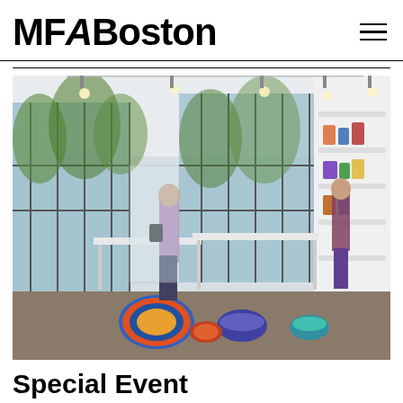MFABoston
[Figure (photo): Interior of the MFA Boston museum shop showing display tables and shelves filled with colorful ceramics, decorative bowls, framed art, and gift items. Two visitors browse the well-lit shop with large floor-to-ceiling windows overlooking greenery.]
Special Event